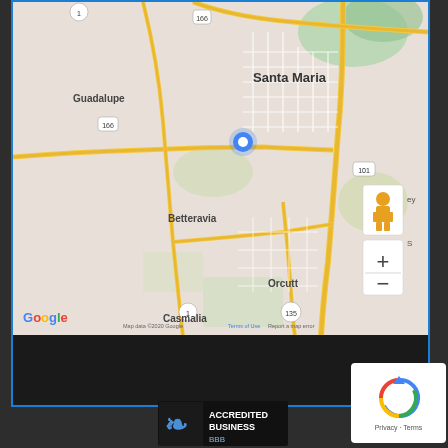[Figure (map): Google Map showing Santa Maria, CA area with surrounding areas Guadalupe, Betteravia, Orcutt, Casmalia. Routes 1, 101, 135, 166 visible. Blue location pin marker in center of Santa Maria. Map controls include pegman (street view) and zoom +/- buttons. Google logo and map data attribution at bottom.]
[Figure (logo): BBB Accredited Business badge with flame logo, black background, white text reading ACCREDITED BUSINESS, BBB label below]
[Figure (other): reCAPTCHA widget showing circular arrow logo and Privacy Terms text]